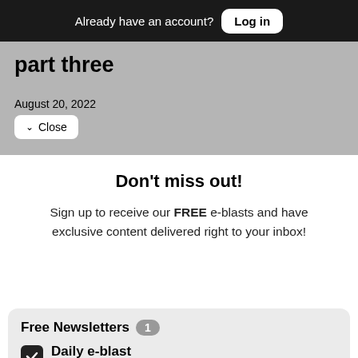Already have an account? Log in
part three
August 20, 2022
Close
members of Gen Z take to the 2022
Don't miss out!
Sign up to receive our FREE e-blasts and have exclusive content delivered right to your inbox!
Free Newsletters 1
Daily e-blast — Join thousands of readers who get their coverage on Black communities from the media company who has been doing it